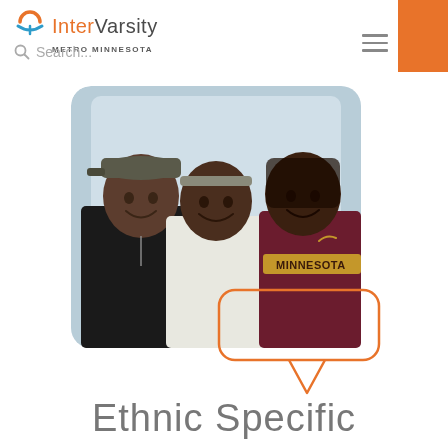[Figure (logo): InterVarsity Metro Minnesota logo with orange semicircle icon]
Search...
[Figure (photo): Three young women smiling outdoors, one wearing a Minnesota hoodie]
Ethnic Specific